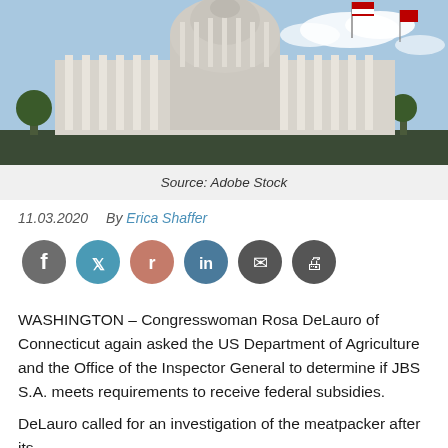[Figure (photo): Photograph of the United States Capitol building exterior with columns and dome, American flag visible, blue sky with clouds]
Source: Adobe Stock
11.03.2020   By Erica Shaffer
[Figure (infographic): Social media sharing buttons: Facebook, Twitter, Reddit, LinkedIn, Email, Print]
WASHINGTON – Congresswoman Rosa DeLauro of Connecticut again asked the US Department of Agriculture and the Office of the Inspector General to determine if JBS S.A. meets requirements to receive federal subsidies.
DeLauro called for an investigation of the meatpacker after its